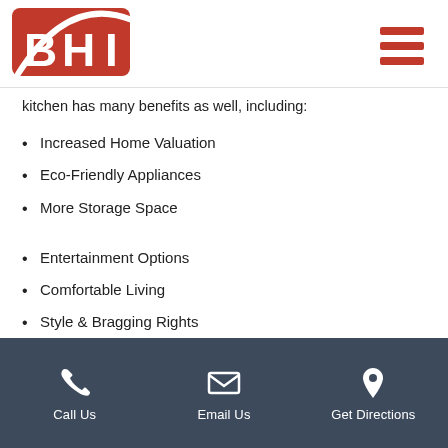BHI Logo and navigation menu
kitchen has many benefits as well, including:
Increased Home Valuation
Eco-Friendly Appliances
More Storage Space
Entertainment Options
Comfortable Living
Style & Bragging Rights
Call Us | Email Us | Get Directions